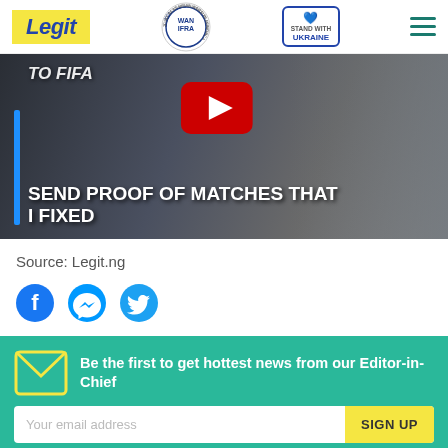Legit | WAN IFRA 2021 Best News Website in Africa | Stand With Ukraine
[Figure (screenshot): Video thumbnail with text overlay: TO FIFA / SEND PROOF OF MATCHES THAT I FIXED. YouTube play button visible. Person in suit in background.]
Source: Legit.ng
[Figure (other): Social sharing icons: Facebook, Messenger, Twitter]
Be the first to get hottest news from our Editor-in-Chief
Your email address | SIGN UP